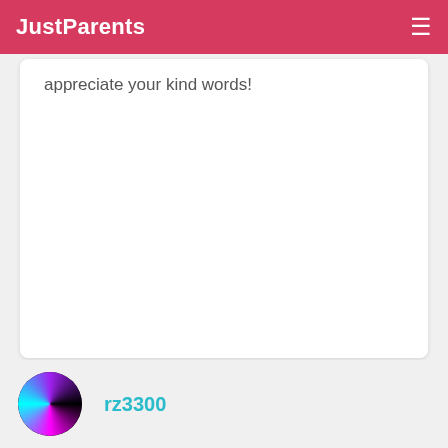JustParents
appreciate your kind words!
rz3300